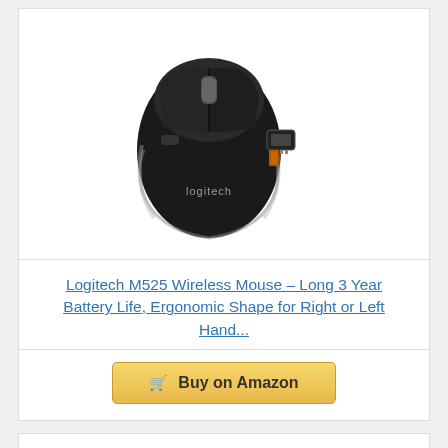[Figure (photo): Logitech M525 wireless mouse in black, shown from above with a small USB receiver dongle beside it. The Logitech logo is visible on the mouse body.]
Logitech M525 Wireless Mouse – Long 3 Year Battery Life, Ergonomic Shape for Right or Left Hand...
Buy on Amazon
Bestseller No. 2
[Figure (photo): Partially visible product image of a second bestseller item at the bottom of the page.]